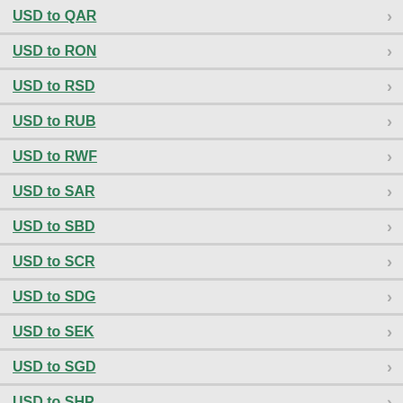USD to QAR
USD to RON
USD to RSD
USD to RUB
USD to RWF
USD to SAR
USD to SBD
USD to SCR
USD to SDG
USD to SEK
USD to SGD
USD to SHP